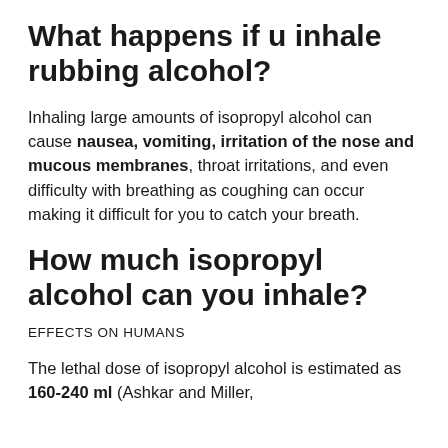What happens if u inhale rubbing alcohol?
Inhaling large amounts of isopropyl alcohol can cause nausea, vomiting, irritation of the nose and mucous membranes, throat irritations, and even difficulty with breathing as coughing can occur making it difficult for you to catch your breath.
How much isopropyl alcohol can you inhale?
EFFECTS ON HUMANS
The lethal dose of isopropyl alcohol is estimated as 160-240 ml (Ashkar and Miller,